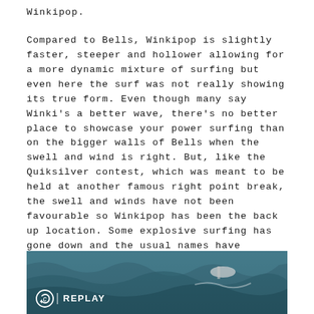Winkipop.
Compared to Bells, Winkipop is slightly faster, steeper and hollower allowing for a more dynamic mixture of surfing but even here the surf was not really showing its true form. Even though many say Winki's a better wave, there's no better place to showcase your power surfing than on the bigger walls of Bells when the swell and wind is right. But, like the Quiksilver contest, which was meant to be held at another famous right point break, the swell and winds have not been favourable so Winkipop has been the back up location. Some explosive surfing has gone down and the usual names have stepped up and continued their form from the 1st stop of the World Surf League tour on the Goldy... but it still seems like not all the competitors are firing on all cylinders... is it the conditions or nerves or both!?
[Figure (photo): Ocean surf photo with a replay button overlay showing the Surfer logo and 'REPLAY' text in white on a teal/ocean background]